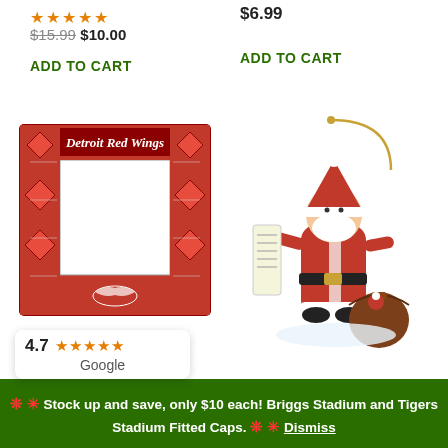[Figure (other): Five gold star rating icons]
$15.99  $10.00
ADD TO CART
$6.99
ADD TO CART
[Figure (photo): Detroit Red Wings stained glass style picture frame with red and clear glass panels and team logo]
[Figure (photo): Detroit Red Wings Santa Claus Christmas ornament figurine in red suit reading a list with a bag of gifts]
[Figure (other): Google review badge showing 4.7 rating with five orange stars and Google logo]
🔴 ✳ Stock up and save, only $10 each! Briggs Stadium and Tigers Stadium Fitted Caps. 🔴 ✳ Dismiss